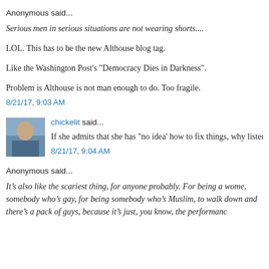Anonymous said...
Serious men in serious situations are not wearing shorts....
LOL. This has to be the new Althouse blog tag.
Like the Washington Post's "Democracy Dies in Darkness".
Problem is Althouse is not man enough to do. Too fragile.
8/21/17, 9:03 AM
chickelit said...
If she admits that she has "no idea' how to fix things, why listen to her
8/21/17, 9:04 AM
Anonymous said...
It’s also like the scariest thing, for anyone probably. For being a wome, somebody who’s gay, for being somebody who’s Muslim, to walk down and there’s a pack of guys, because it’s just, you know, the performanc